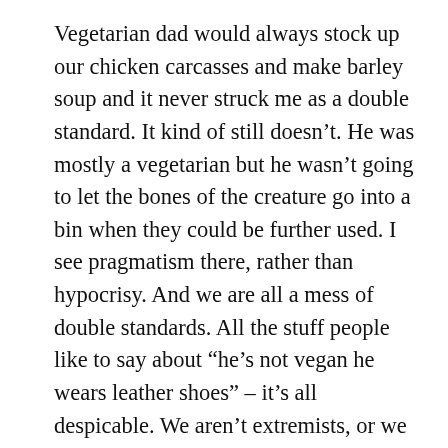Vegetarian dad would always stock up our chicken carcasses and make barley soup and it never struck me as a double standard. It kind of still doesn't. He was mostly a vegetarian but he wasn't going to let the bones of the creature go into a bin when they could be further used. I see pragmatism there, rather than hypocrisy. And we are all a mess of double standards. All the stuff people like to say about “he’s not vegan he wears leather shoes” – it’s all despicable. We aren’t extremists, or we certainly should try not to be. All that “she cares about the environment so why is she flying” crap? It’s just people trying to get themselves off the hook, and it’s cheap and transparent. “I’ve found a double standard in